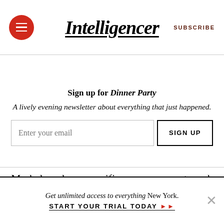Intelligencer | SUBSCRIBE
Sign up for Dinner Party
A lively evening newsletter about everything that just happened.
Merkel made no specific announcements and called for no nationwide curfews or additional closures.
Get unlimited access to everything New York. START YOUR TRIAL TODAY